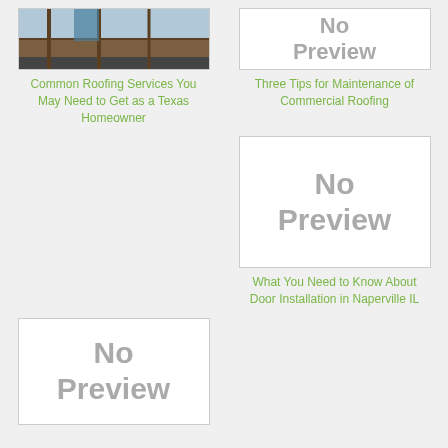[Figure (photo): Photo of a person working on a roof with wooden framing visible]
[Figure (other): No Preview placeholder image (small)]
Common Roofing Services You May Need to Get as a Texas Homeowner
Three Tips for Maintenance of Commercial Roofing
[Figure (other): No Preview placeholder image (large)]
What You Need to Know About Door Installation in Naperville IL
[Figure (other): No Preview placeholder image (large, bottom left)]